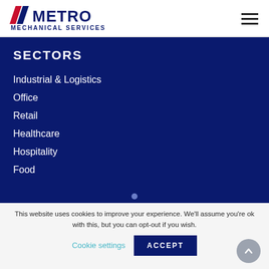METRO MECHANICAL SERVICES
SECTORS
Industrial & Logistics
Office
Retail
Healthcare
Hospitality
Food
This website uses cookies to improve your experience. We'll assume you're ok with this, but you can opt-out if you wish.
Cookie settings | ACCEPT